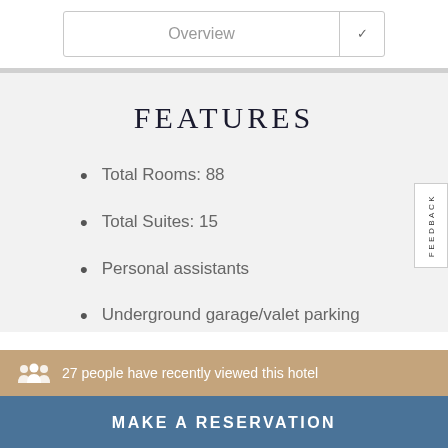Overview
FEATURES
Total Rooms: 88
Total Suites: 15
Personal assistants
Underground garage/valet parking
27 people have recently viewed this hotel
MAKE A RESERVATION